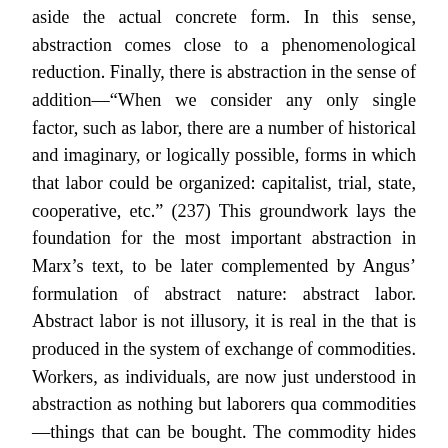aside the actual concrete form. In this sense, abstraction comes close to a phenomenological reduction. Finally, there is abstraction in the sense of addition—"When we consider any only single factor, such as labor, there are a number of historical and imaginary, or logically possible, forms in which that labor could be organized: capitalist, trial, state, cooperative, etc." (237) This groundwork lays the foundation for the most important abstraction in Marx's text, to be later complemented by Angus' formulation of abstract nature: abstract labor. Abstract labor is not illusory, it is real in the that is produced in the system of exchange of commodities. Workers, as individuals, are now just understood in abstraction as nothing but laborers qua commodities—things that can be bought. The commodity hides the relationship between humans, we do not encounter or know those whose products we purchase hence we tend to assume the value lies